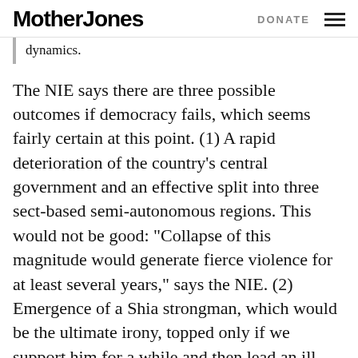Mother Jones  DONATE
dynamics.
The NIE says there are three possible outcomes if democracy fails, which seems fairly certain at this point. (1) A rapid deterioration of the country's central government and an effective split into three sect-based semi-autonomous regions. This would not be good: “Collapse of this magnitude would generate fierce violence for at least several years,” says the NIE. (2) Emergence of a Shia strongman, which would be the ultimate irony, topped only if we support him for a while and then lead an ill-advised invasion to depose him in twenty years. (3) Chaos. “The emergence of a checkered pattern of